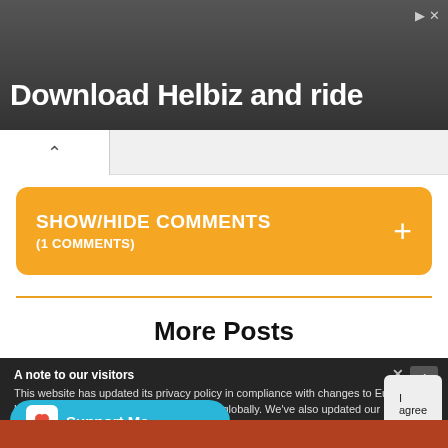[Figure (screenshot): Advertisement banner for Helbiz app showing scooter handlebars in background with text 'Download Helbiz and ride' in bold white, with ad icons top right]
[Figure (screenshot): Browser tab area with back arrow (^) navigation tab on white pill background]
SHOW/HIDE COMMENTS
(1 COMMENTS)
More Posts
A note to our visitors
This website has updated its privacy policy in compliance with changes to European Union data protection law, for all members globally. We've also updated our Privacy Policy to give you more information about your rights and responsibilities with respect to your privacy and personal information. Please read this to review the updates about which cookies we use and w...site. By continuing to use this site, you a...policy.
[Figure (screenshot): Support Me button (Ko-fi style) in cyan/teal blue with heart icon]